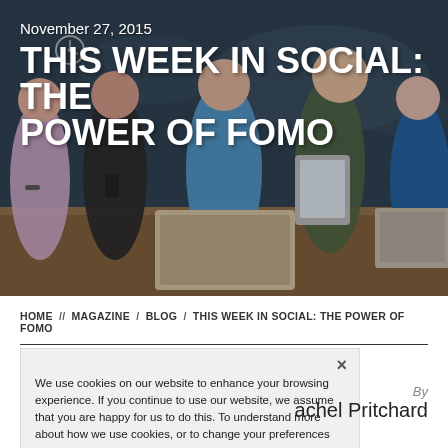[Figure (photo): Hero image showing a group of young people using smartphones, tablets, and laptops at a table with a world map in the background]
November 27, 2015
THIS WEEK IN SOCIAL: THE POWER OF FOMO
HOME // MAGAZINE / BLOG / THIS WEEK IN SOCIAL: THE POWER OF FOMO
We use cookies on our website to enhance your browsing experience. If you continue to use our website, we assume that you are happy for us to do this. To understand more about how we use cookies, or to change your preferences and browser settings, please see our Cookie Policy.
By
achel Pritchard